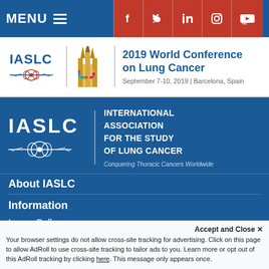MENU
[Figure (logo): IASLC 2019 World Conference on Lung Cancer logo with Sagrada Familia icon, September 7-10, 2019 | Barcelona, Spain]
[Figure (logo): IASLC logo with text: INTERNATIONAL ASSOCIATION FOR THE STUDY OF LUNG CANCER, Conquering Thoracic Cancers Worldwide]
About IASLC
Information
Image Gallery
Onsite Information
Welcome Message
Accept and Close ✕
Your browser settings do not allow cross-site tracking for advertising. Click on this page to allow AdRoll to use cross-site tracking to tailor ads to you. Learn more or opt out of this AdRoll tracking by clicking here. This message only appears once.